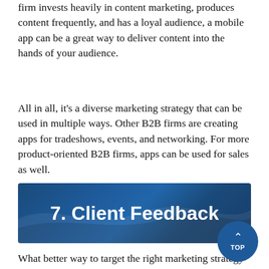firm invests heavily in content marketing, produces content frequently, and has a loyal audience, a mobile app can be a great way to deliver content into the hands of your audience.
All in all, it's a diverse marketing strategy that can be used in multiple ways. Other B2B firms are creating apps for tradeshows, events, and networking. For more product-oriented B2B firms, apps can be used for sales as well.
7. Client Feedback
What better way to target the right marketing strategy than to find out what works and what doesn't straight from the clients themselves? Including a feedback form or any type of feedback mechanism in whatever marketing strategy choose to engage in unlocks potential data.